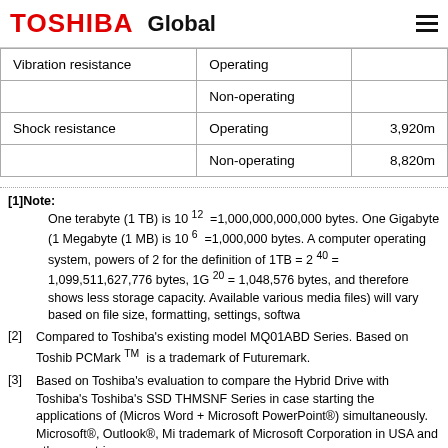TOSHIBA Global
|  |  |  |
| --- | --- | --- |
| Vibration resistance | Operating |  |
|  | Non-operating |  |
| Shock resistance | Operating | 3,920m |
|  | Non-operating | 8,820m |
[1]Note: One terabyte (1 TB) is 10 12 =1,000,000,000,000 bytes. One Gigabyte (1 GB) is 10 9 =1,000,000,000 bytes. One Megabyte (1 MB) is 10 6 =1,000,000 bytes. A computer operating system, however, reports storage capacity using powers of 2 for the definition of 1TB = 2 40 = 1,099,511,627,776 bytes, 1GB = 2 30 = 1,073,741,824 bytes, 1MB = 2 20 = 1,048,576 bytes, and therefore shows less storage capacity. Available storage capacity (including various media files) will vary based on file size, formatting, settings, software and operating system.
[2] Compared to Toshiba's existing model MQ01ABD Series. Based on Toshiba's evaluation using PCMark TM. PCMark TM is a trademark of Futuremark.
[3] Based on Toshiba's evaluation to compare the Hybrid Drive with Toshiba's SSD THMSNF Series in case starting the applications of (Microsoft Outlook® + Microsoft Word + Microsoft PowerPoint®) simultaneously. Microsoft®, Outlook®, Microsoft Word® and PowerPoint® is a registered trademark of Microsoft Corporation in USA and other countries.
[4] Toshiba Semiconductor & Storage Products Company defines halogen-free hard disk drive (HDD) products as those meeting all of the following requir